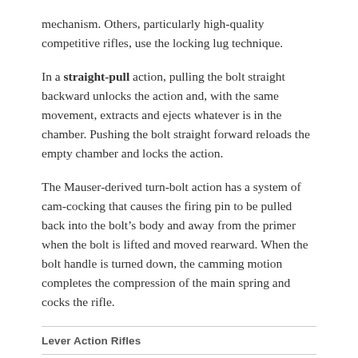mechanism. Others, particularly high-quality competitive rifles, use the locking lug technique.
In a straight-pull action, pulling the bolt straight backward unlocks the action and, with the same movement, extracts and ejects whatever is in the chamber. Pushing the bolt straight forward reloads the empty chamber and locks the action.
The Mauser-derived turn-bolt action has a system of cam-cocking that causes the firing pin to be pulled back into the bolt’s body and away from the primer when the bolt is lifted and moved rearward. When the bolt handle is turned down, the camming motion completes the compression of the main spring and cocks the rifle.
Lever Action Rifles